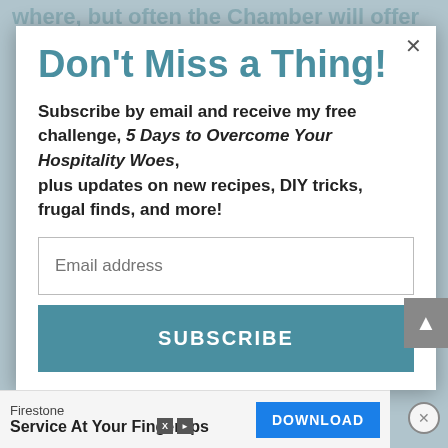where, but often the Chamber will offer
Don't Miss a Thing!
Subscribe by email and receive my free challenge, 5 Days to Overcome Your Hospitality Woes, plus updates on new recipes, DIY tricks, frugal finds, and more!
Email address
SUBSCRIBE
Firestone
Service At Your Fingertips
DOWNLOAD